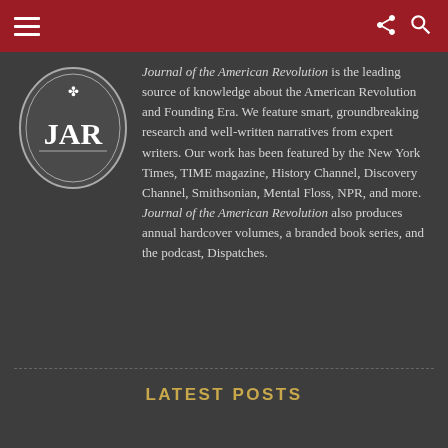Journal of the American Revolution — navigation header with hamburger menu, share icon, and search icon
[Figure (logo): JAR oval logo with decorative crest and 'JAR' text on dark background]
Journal of the American Revolution is the leading source of knowledge about the American Revolution and Founding Era. We feature smart, groundbreaking research and well-written narratives from expert writers. Our work has been featured by the New York Times, TIME magazine, History Channel, Discovery Channel, Smithsonian, Mental Floss, NPR, and more. Journal of the American Revolution also produces annual hardcover volumes, a branded book series, and the podcast, Dispatches.
LATEST POSTS